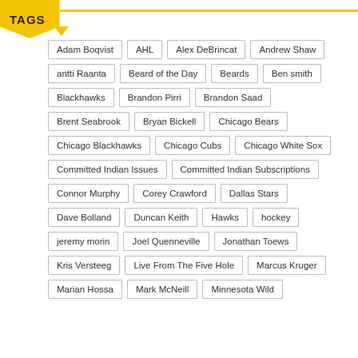TAGS
Adam Boqvist
AHL
Alex DeBrincat
Andrew Shaw
antti Raanta
Beard of the Day
Beards
Ben smith
Blackhawks
Brandon Pirri
Brandon Saad
Brent Seabrook
Bryan Bickell
Chicago Bears
Chicago Blackhawks
Chicago Cubs
Chicago White Sox
Committed Indian Issues
Committed Indian Subscriptions
Connor Murphy
Corey Crawford
Dallas Stars
Dave Bolland
Duncan Keith
Hawks
hockey
jeremy morin
Joel Quenneville
Jonathan Toews
Kris Versteeg
Live From The Five Hole
Marcus Kruger
Marian Hossa
Mark McNeill
Minnesota Wild